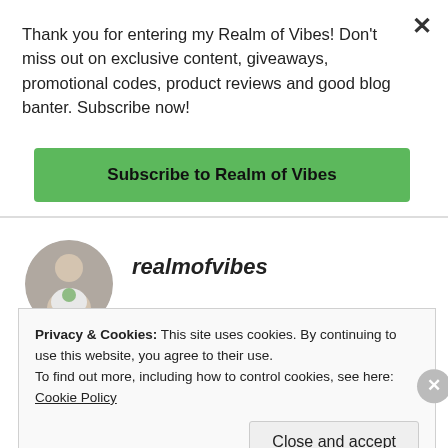Thank you for entering my Realm of Vibes! Don't miss out on exclusive content, giveaways, promotional codes, product reviews and good blog banter. Subscribe now!
Subscribe to Realm of Vibes
[Figure (photo): Circular avatar photo of a woman wearing a white t-shirt with a graphic print, against a grey background]
realmofvibes
JUNE 22, 2017 AT 7:26 AM
It was gorgeous! Can't wait to go back!
Privacy & Cookies: This site uses cookies. By continuing to use this website, you agree to their use.
To find out more, including how to control cookies, see here: Cookie Policy
Close and accept